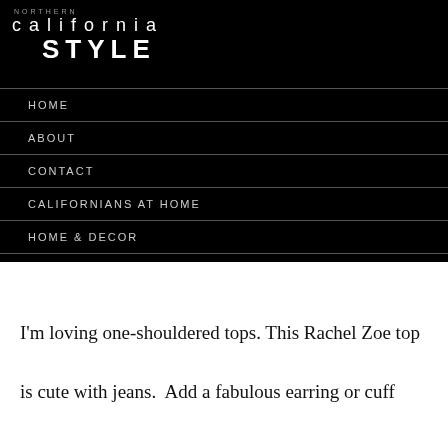NORTHERN california STYLE
HOME
ABOUT
CONTACT
CALIFORNIANS AT HOME
HOME & DECOR
MY CALIFORNIA CLOSET
I'm loving one-shouldered tops. This Rachel Zoe top is cute with jeans.  Add a fabulous earring or cuff